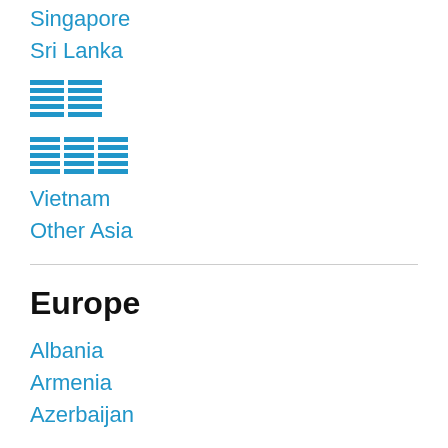Singapore
Sri Lanka
[Figure (other): Two icon/flag placeholder images represented as blue horizontal lines grid]
[Figure (other): Three icon/flag placeholder images represented as blue horizontal lines grid]
Vietnam
Other Asia
Europe
Albania
Armenia
Azerbaijan